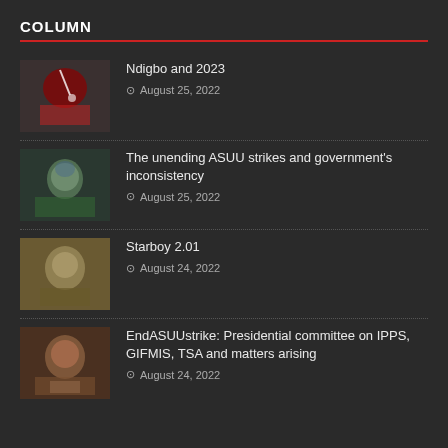COLUMN
Ndigbo and 2023 | August 25, 2022
The unending ASUU strikes and government's inconsistency | August 25, 2022
Starboy 2.01 | August 24, 2022
EndASUUstrike: Presidential committee on IPPS, GIFMIS, TSA and matters arising | August 24, 2022